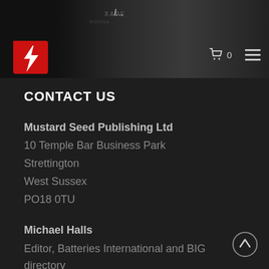[Figure (screenshot): Website header/navigation bar with logo (red lightning bolt icon), a partial banner image showing a street scene, a shopping cart icon with '0', and a hamburger menu icon]
CONTACT US
Mustard Seed Publishing Ltd
10 Temple Bar Business Park
Strettington
West Sussex
PO18 0TU
Michael Halls
Editor, Batteries International and BIG directory
Email: editor@batteriesinternational.com
Direct dial: +44 (0)1 342 792375